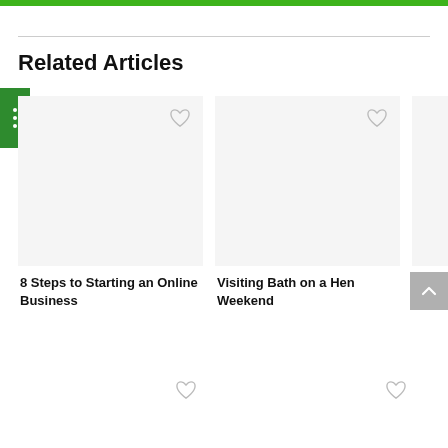Related Articles
8 Steps to Starting an Online Business
Visiting Bath on a Hen Weekend